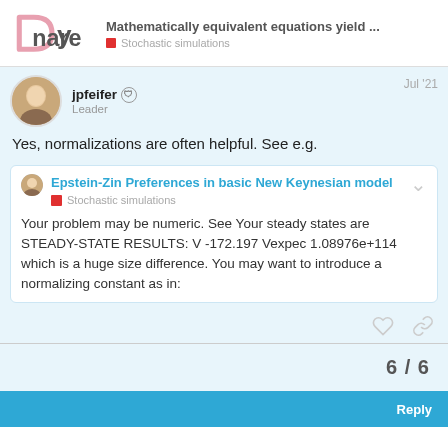Mathematically equivalent equations yield ... | Stochastic simulations
Yes, normalizations are often helpful. See e.g.
Epstein-Zin Preferences in basic New Keynesian model | Stochastic simulations
Your problem may be numeric. See Your steady states are STEADY-STATE RESULTS: V -172.197 Vexpec 1.08976e+114 which is a huge size difference. You may want to introduce a normalizing constant as in:
6 / 6